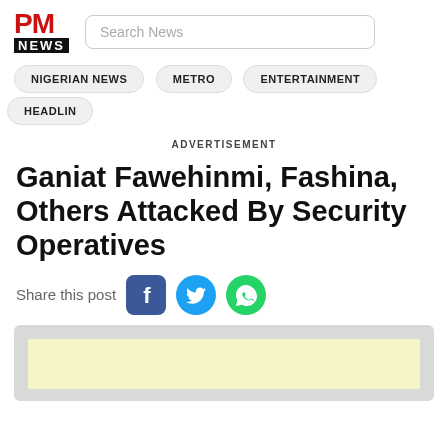PM NEWS
Search News
NIGERIAN NEWS
METRO
ENTERTAINMENT
HEADLIN
ADVERTISEMENT
Ganiat Fawehinmi, Fashina, Others Attacked By Security Operatives
Share this post
[Figure (other): Advertisement placeholder with light yellow inner block]